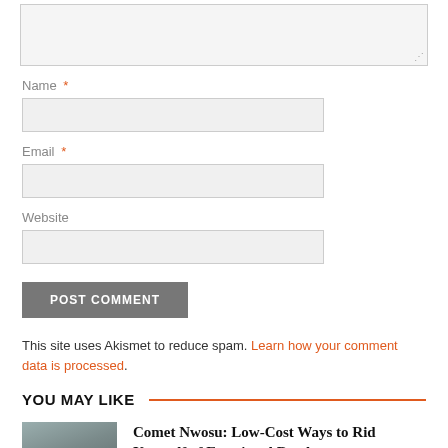[Figure (screenshot): Text input textarea with light gray background and resize handle]
Name *
[Figure (screenshot): Name input field, light gray background]
Email *
[Figure (screenshot): Email input field, light gray background]
Website
[Figure (screenshot): Website input field, light gray background]
[Figure (screenshot): POST COMMENT button, dark gray background, white uppercase text]
This site uses Akismet to reduce spam. Learn how your comment data is processed.
YOU MAY LIKE
Comet Nwosu: Low-Cost Ways to Rid Yourself of Emotional Burdens